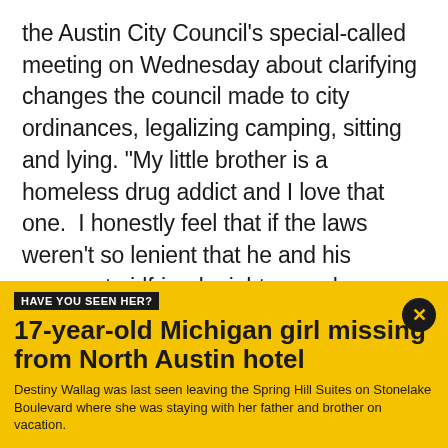the Austin City Council's special-called meeting on Wednesday about clarifying changes the council made to city ordinances, legalizing camping, sitting and lying. "My little brother is a homeless drug addict and I love that one.  I honestly feel that if the laws weren't so lenient that he and his pregnant girlfriend might come home or go into rehab.  But right now they're camping at a Walmart," one speaker said.

Others, thankful. "This is my home...this is what I carry with me is my sleeping bag.  I've been woken up in the
[Figure (infographic): Yellow banner advertisement/alert: 'HAVE YOU SEEN HER?' label in black box, headline '17-year-old Michigan girl missing from North Austin hotel', subtext about Destiny Wallag last seen leaving Spring Hill Suites on Stonelake Boulevard. Close button (X) in black circle top right.]